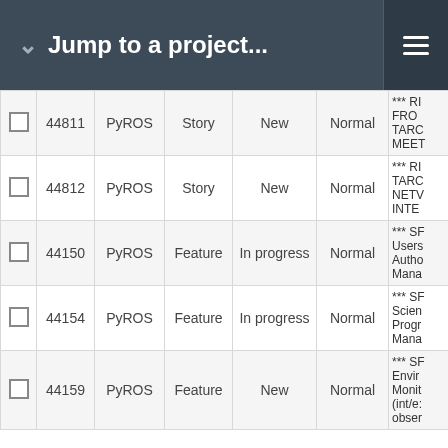Jump to a project...
|  | # | Project | Tracker | Status | Priority | Subject |
| --- | --- | --- | --- | --- | --- | --- |
|  | 44811 | PyROS | Story | New | Normal | *** RI FROM TARG MEET |
|  | 44812 | PyROS | Story | New | Normal | *** RI TARG NETV INTE |
|  | 44150 | PyROS | Feature | In progress | Normal | *** SP Users Autho Mana |
|  | 44154 | PyROS | Feature | In progress | Normal | *** SP Scien Progr Mana |
|  | 44159 | PyROS | Feature | New | Normal | *** SP Envir Monit (int/e: obser |